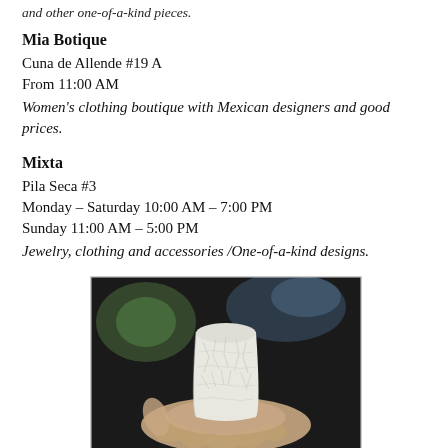and other one-of-a-kind pieces.
Mia Botique
Cuna de Allende #19 A
From 11:00 AM
Women's clothing boutique with Mexican designers and good prices.
Mixta
Pila Seca #3
Monday – Saturday 10:00 AM – 7:00 PM
Sunday 11:00 AM – 5:00 PM
Jewelry, clothing and accessories /One-of-a-kind designs.
[Figure (photo): A hand holding a white textured ceramic vessel/cup against a dark background]